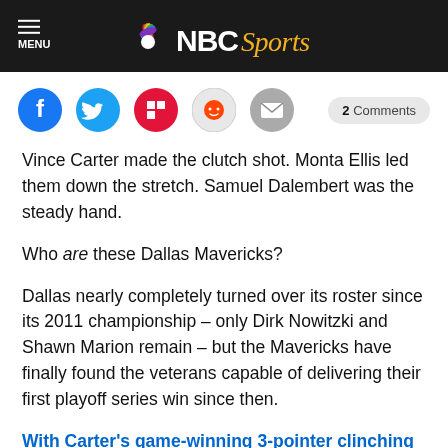NBC Sports
[Figure (infographic): Social sharing icons: Facebook, Twitter, Flipboard, Reddit, Email. Comments button showing '2 Comments'.]
Vince Carter made the clutch shot. Monta Ellis led them down the stretch. Samuel Dalembert was the steady hand.
Who are these Dallas Mavericks?
Dallas nearly completely turned over its roster since its 2011 championship – only Dirk Nowitzki and Shawn Marion remain – but the Mavericks have finally found the veterans capable of delivering their first playoff series win since then.
With Carter's game-winning 3-pointer clinching a 109-108 Game 5 win, Dallas took a 3-2 series lead...